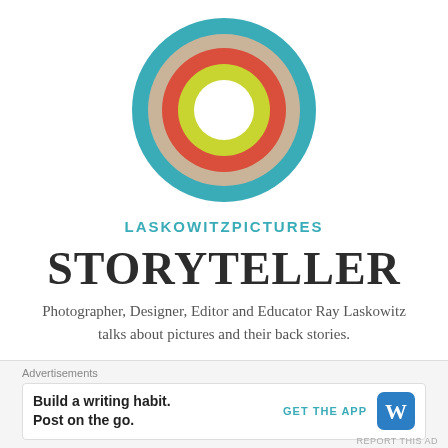[Figure (logo): Circular concentric rings logo: outer teal ring, then beige/tan ring, then red/coral ring, then yellow-green ring, with white center circle]
LaskowitzPictures
STORYTELLER
Photographer, Designer, Editor and Educator Ray Laskowitz talks about pictures and their back stories.
Everlong
Advertisements
Build a writing habit. Post on the go.
GET THE APP